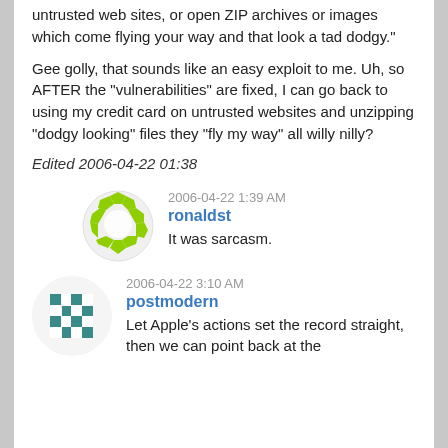untrusted web sites, or open ZIP archives or images which come flying your way and that look a tad dodgy."
Gee golly, that sounds like an easy exploit to me. Uh, so AFTER the "vulnerabilities" are fixed, I can go back to using my credit card on untrusted websites and unzipping "dodgy looking" files they "fly my way" all willy nilly?
Edited 2006-04-22 01:38
[Figure (illustration): Avatar for user ronaldst: circular green mosaic/puzzle piece icon]
2006-04-22 1:39 AM
ronaldst
It was sarcasm.
[Figure (illustration): Avatar for user postmodern: square teal/blue geometric pattern icon]
2006-04-22 3:10 AM
postmodern
Let Apple's actions set the record straight, then we can point back at the